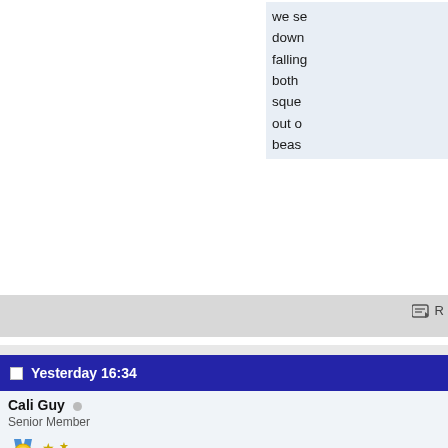we se
down
falling
both
sque
out o
beas
R
Yesterday 16:34
Cali Guy
Senior Member
Posts: 368
Bide
polic